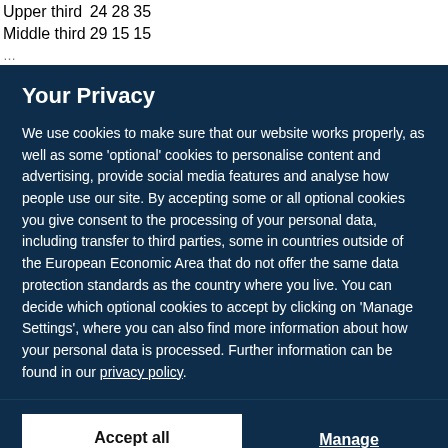| Upper third | 24 | 28 | 35 |  |
| Middle third | 29 | 15 | 15 |  |
Your Privacy
We use cookies to make sure that our website works properly, as well as some 'optional' cookies to personalise content and advertising, provide social media features and analyse how people use our site. By accepting some or all optional cookies you give consent to the processing of your personal data, including transfer to third parties, some in countries outside of the European Economic Area that do not offer the same data protection standards as the country where you live. You can decide which optional cookies to accept by clicking on 'Manage Settings', where you can also find more information about how your personal data is processed. Further information can be found in our privacy policy.
Accept all cookies
Manage preferences